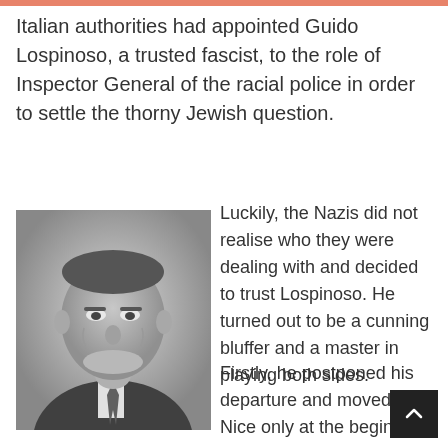Italian authorities had appointed Guido Lospinoso, a trusted fascist, to the role of Inspector General of the racial police in order to settle the thorny Jewish question.
[Figure (photo): Black and white portrait photograph of an older man in a suit and tie, identified as Guido Lospinoso.]
Luckily, the Nazis did not realise who they were dealing with and decided to trust Lospinoso. He turned out to be a cunning bluffer and a master in playing both sides.
Firstly, he postponed his departure and moved to Nice only at the begin...